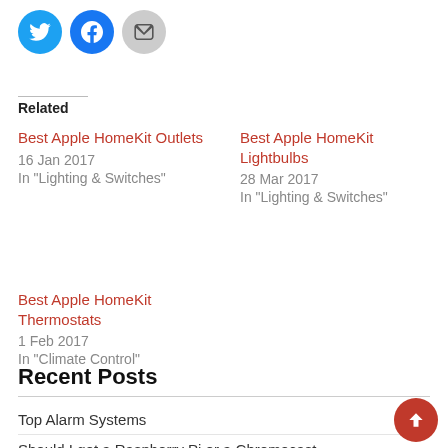[Figure (other): Social sharing icon buttons: Twitter (blue circle), Facebook (blue circle), Email (gray circle)]
Related
Best Apple HomeKit Outlets
16 Jan 2017
In "Lighting & Switches"
Best Apple HomeKit Lightbulbs
28 Mar 2017
In "Lighting & Switches"
Best Apple HomeKit Thermostats
1 Feb 2017
In "Climate Control"
Recent Posts
Top Alarm Systems
Should I get a Raspberry Pi or a Chromecast